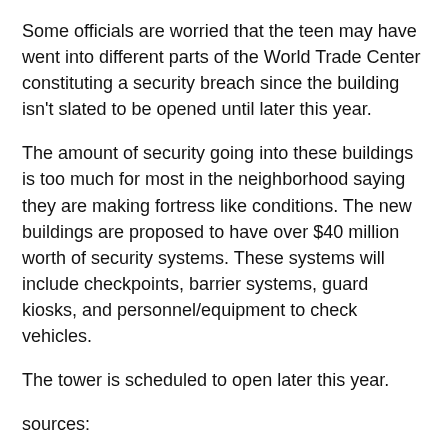Some officials are worried that the teen may have went into different parts of the World Trade Center constituting a security breach since the building isn't slated to be opened until later this year.
The amount of security going into these buildings is too much for most in the neighborhood saying they are making fortress like conditions. The new buildings are proposed to have over $40 million worth of security systems. These systems will include checkpoints, barrier systems, guard kiosks, and personnel/equipment to check vehicles.
The tower is scheduled to open later this year.
sources:
Teenager arrested for sneaking on to top of One World Trade Center